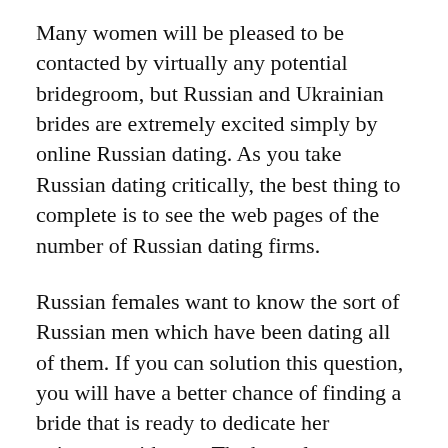Many women will be pleased to be contacted by virtually any potential bridegroom, but Russian and Ukrainian brides are extremely excited simply by online Russian dating. As you take Russian dating critically, the best thing to complete is to see the web pages of the number of Russian dating firms.
Russian females want to know the sort of Russian men which have been dating all of them. If you can solution this question, you will have a better chance of finding a bride that is ready to dedicate her existence with you. The best place to start in finding a Russian new bride is to take a look at Russian online communities such as MySpace and ZabaSearch. You can find a large number of profiles on these sites, and they can provide you with that lot of information regarding the people which might be involved with Russian dating. You can utilize these user profiles to find out who all Russian birdes-to-